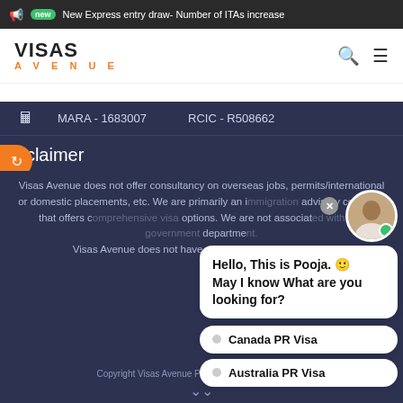new  New Express entry draw- Number of ITAs increase
[Figure (logo): Visas Avenue logo with orange AVENUE text]
MARA - 1683007    RCIC - R508662
Disclaimer
Visas Avenue does not offer consultancy on overseas jobs, permits/international or domestic placements, etc. We are primarily an immigration advisory company that offers comprehensive visa options. We are not associated with any government department.
Visas Avenue does not have any office in Punjab region.
[Figure (screenshot): Chat widget with avatar of Pooja, showing message: Hello, This is Pooja. May I know What are you looking for? With options Canada PR Visa and Australia PR Visa]
Copyright Visas Avenue Pvt. Ltd. All Right Reserved.